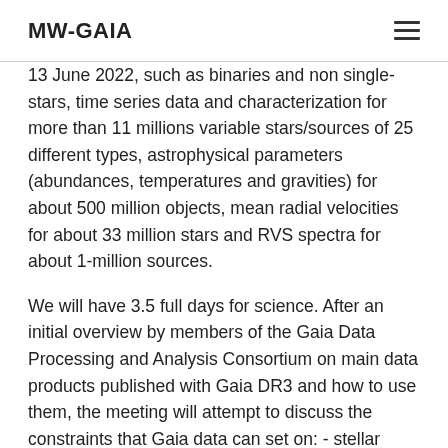MW-GAIA
13 June 2022, such as binaries and non single-stars, time series data and characterization for more than 11 millions variable stars/sources of 25 different types, astrophysical parameters (abundances, temperatures and gravities) for about 500 million objects, mean radial velocities for about 33 million stars and RVS spectra for about 1-million sources.
We will have 3.5 full days for science. After an initial overview by members of the Gaia Data Processing and Analysis Consortium on main data products published with Gaia DR3 and how to use them, the meeting will attempt to discuss the constraints that Gaia data can set on: - stellar evolution models; - selected phases of stellar evolution; - stellar pulsation models; - asteroseismology; - binary star evolution; On the last day, synergies between Gaia and on-going/future spectroscopic surveys will also be